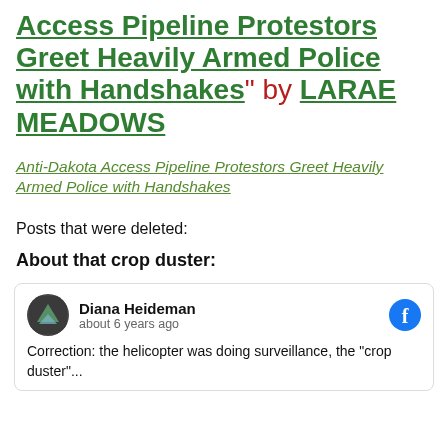Access Pipeline Protestors Greet Heavily Armed Police with Handshakes" by LARAE MEADOWS
Anti-Dakota Access Pipeline Protestors Greet Heavily Armed Police with Handshakes
Posts that were deleted:
About that crop duster:
Diana Heideman
about 6 years ago
Correction: the helicopter was doing surveillance, the "crop duster"...